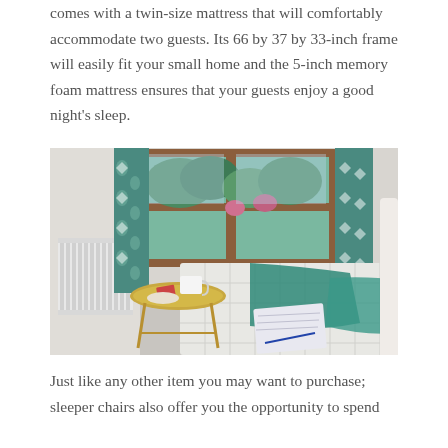comes with a twin-size mattress that will comfortably accommodate two guests. Its 66 by 37 by 33-inch frame will easily fit your small home and the 5-inch memory foam mattress ensures that your guests enjoy a good night's sleep.
[Figure (photo): A cozy bedroom scene showing a bed with teal/turquoise bedding and a notebook on it, a small round gold side table with a mug and items on top, a window with patterned teal curtains, a white radiator on the left wall, and green trees visible outside the window.]
Just like any other item you may want to purchase; sleeper chairs also offer you the opportunity to spend